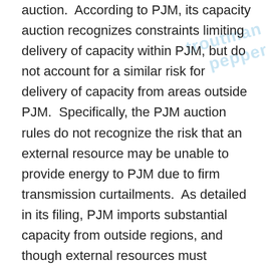auction.  According to PJM, its capacity auction recognizes constraints limiting delivery of capacity within PJM, but do not account for a similar risk for delivery of capacity from areas outside PJM.  Specifically, the PJM auction rules do not recognize the risk that an external resource may be unable to provide energy to PJM due to firm transmission curtailments.  As detailed in its filing, PJM imports substantial capacity from outside regions, and though external resources must reserve firm transmission service from their resources to PJM, that service can be curtailed due to certain TLR events.  PJM noted that from 2009-2013, transmission into PJM was curtailed for 151 separate “level 5” TLR events.  In addition to reliability risks, PJM argued that external resources that do not accurately reflect the cost of